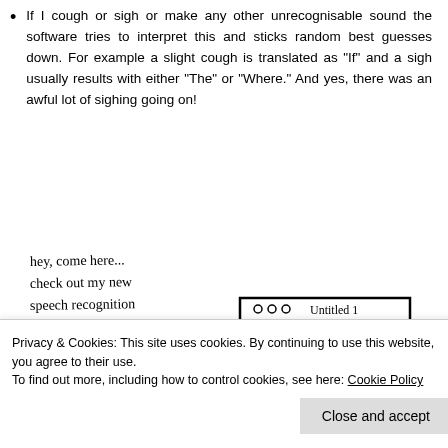If I cough or sigh or make any other unrecognisable sound the software tries to interpret this and sticks random best guesses down. For example a slight cough is translated as “If” and a sigh usually results with either “The” or “Where.” And yes, there was an awful lot of sighing going on!
[Figure (illustration): A hand-drawn cartoon illustration showing a person saying 'hey, come here... check out my new speech recognition program' with a computer screen in the background showing 'ooo Untitled 1' and text 'Pan sauce. Chicken']
Privacy & Cookies: This site uses cookies. By continuing to use this website, you agree to their use.
To find out more, including how to control cookies, see here: Cookie Policy